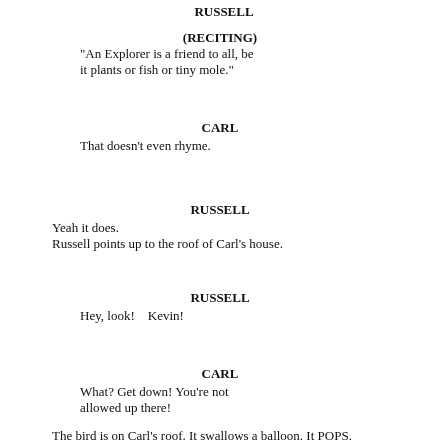RUSSELL
(RECITING)
"An Explorer is a friend to all, be it plants or fish or tiny mole."
CARL
That doesn't even rhyme.
RUSSELL
Yeah it does.
Russell points up to the roof of Carl's house.
RUSSELL
Hey, look!    Kevin!
CARL
What? Get down! You're not allowed up there!
The bird is on Carl's roof. It swallows a balloon. It POPS.